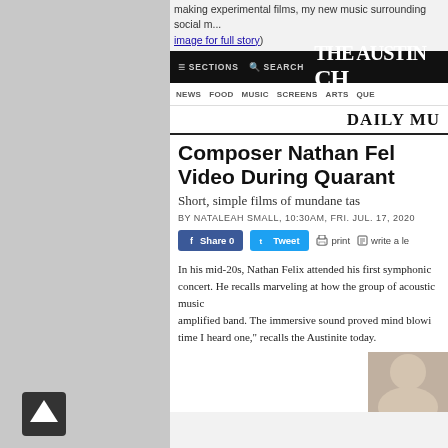making experimental films, my new music surrounding social m... image for full story)
[Figure (screenshot): Screenshot of The Austin Chronicle website showing article about Composer Nathan Felix making video during quarantine, with navigation bar, social share buttons, and article text]
In his mid-20s, Nathan Felix attended his first symphonic concert. He recalls marveling at how the group of acoustic music... amplified band. The immersive sound proved mind blowi... time I heard one, recalls the Austinite today.